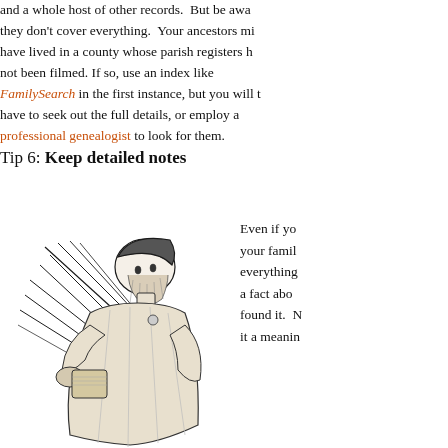and a whole host of other records.  But be aware they don't cover everything.  Your ancestors might have lived in a county whose parish registers have not been filmed. If so, use an index like FamilySearch in the first instance, but you will have to seek out the full details, or employ a professional genealogist to look for them.
Tip 6: Keep detailed notes
[Figure (illustration): Black and white woodcut-style illustration of a medieval scribe or scholar holding palm fronds or quills, wearing a cap and robes, with a book or scroll]
Even if you your family everything a fact about found it.  it a meaning